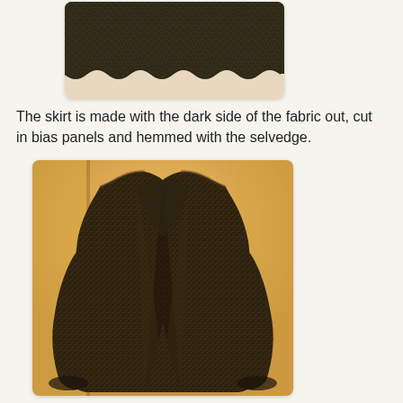[Figure (photo): Partial top view of a dark multicolored woven skirt laid flat, showing the hemmed selvedge edge at the bottom, cut in bias panels.]
The skirt is made with the dark side of the fabric out, cut in bias panels and hemmed with the selvedge.
[Figure (photo): A dark multicolored woven jacket or coat with an open front, displayed hanging against a warm yellow-lit background.]